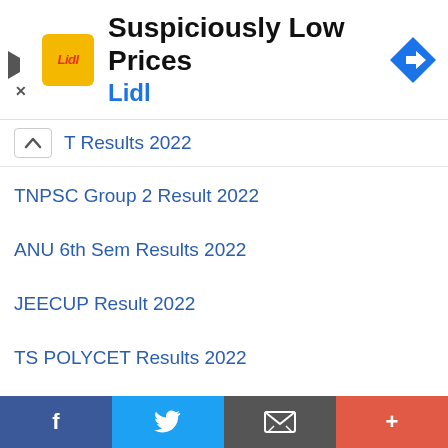[Figure (screenshot): Lidl advertisement banner with logo, text 'Suspiciously Low Prices' and 'Lidl', with navigation arrow icon]
T Results 2022
TNPSC Group 2 Result 2022
ANU 6th Sem Results 2022
JEECUP Result 2022
TS POLYCET Results 2022
RMLAU Result 2022
AP SSC Supplementary Results 2022
Uniraj Result 2022 Name Wise